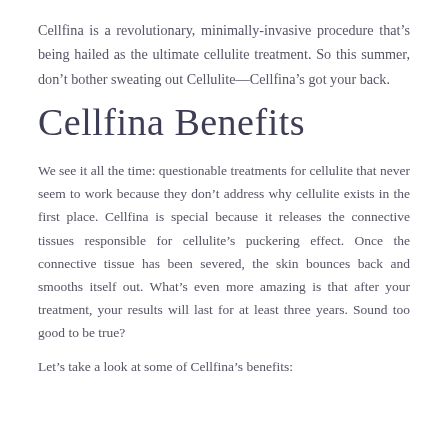Cellfina is a revolutionary, minimally-invasive procedure that's being hailed as the ultimate cellulite treatment. So this summer, don't bother sweating out Cellulite—Cellfina's got your back.
Cellfina Benefits
We see it all the time: questionable treatments for cellulite that never seem to work because they don't address why cellulite exists in the first place. Cellfina is special because it releases the connective tissues responsible for cellulite's puckering effect. Once the connective tissue has been severed, the skin bounces back and smooths itself out. What's even more amazing is that after your treatment, your results will last for at least three years. Sound too good to be true?
Let's take a look at some of Cellfina's benefits: